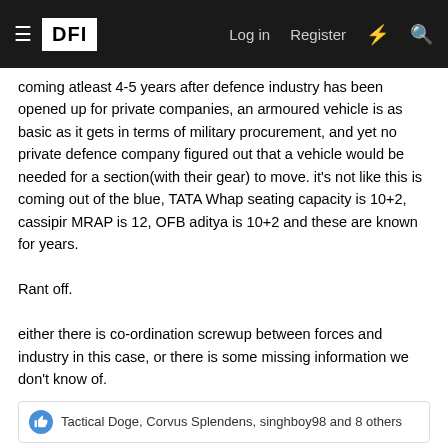DFI — Log in | Register
coming atleast 4-5 years after defence industry has been opened up for private companies, an armoured vehicle is as basic as it gets in terms of military procurement, and yet no private defence company figured out that a vehicle would be needed for a section(with their gear) to move. it's not like this is coming out of the blue, TATA Whap seating capacity is 10+2, cassipir MRAP is 12, OFB aditya is 10+2 and these are known for years.

Rant off.

either there is co-ordination screwup between forces and industry in this case, or there is some missing information we don't know of.
Tactical Doge, Corvus Splendens, singhboy98 and 8 others
Chinmoy
Senior Member